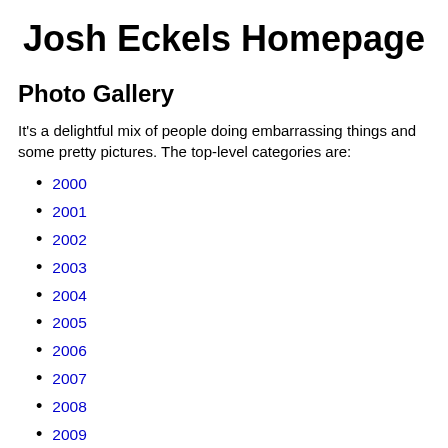Josh Eckels Homepage
Photo Gallery
It's a delightful mix of people doing embarrassing things and some pretty pictures. The top-level categories are:
2000
2001
2002
2003
2004
2005
2006
2007
2008
2009
2010
2011
2012
2013
2014
2015